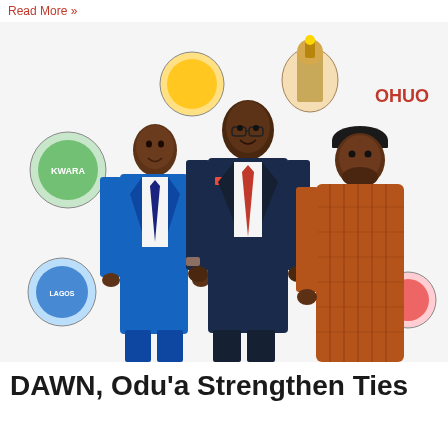Read More »
[Figure (photo): Three men standing together for a photo in front of a white backdrop with various state emblems/coats of arms. Left: a tall man in a blue suit with a blue tie. Center: a taller man in a navy suit with a red tie and red pocket square. Right: a heavyset man in a rust/brown traditional Nigerian outfit and black kufi cap.]
DAWN, Odu'a Strengthen Ties